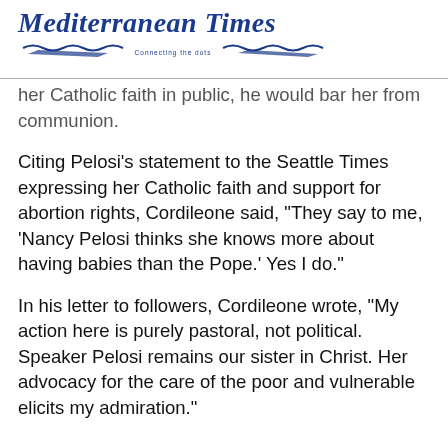Mediterranean Times — Connecting the dots
her Catholic faith in public, he would bar her from communion.
Citing Pelosi's statement to the Seattle Times expressing her Catholic faith and support for abortion rights, Cordileone said, "They say to me, 'Nancy Pelosi thinks she knows more about having babies than the Pope.' Yes I do."
In his letter to followers, Cordileone wrote, "My action here is purely pastoral, not political. Speaker Pelosi remains our sister in Christ. Her advocacy for the care of the poor and vulnerable elicits my admiration."